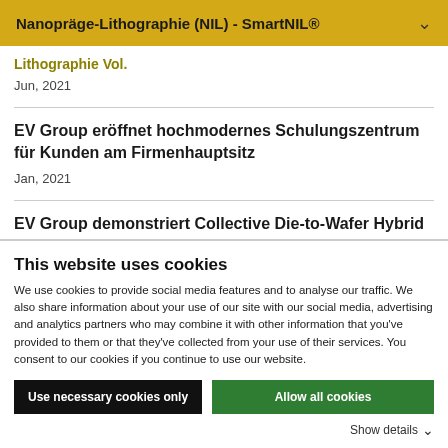Nanopräge-Lithographie (NIL) - SmartNIL®
Lithographie Vol.
Jun, 2021
EV Group eröffnet hochmodernes Schulungszentrum für Kunden am Firmenhauptsitz
Jan, 2021
EV Group demonstriert Collective Die-to-Wafer Hybrid
This website uses cookies
We use cookies to provide social media features and to analyse our traffic. We also share information about your use of our site with our social media, advertising and analytics partners who may combine it with other information that you've provided to them or that they've collected from your use of their services. You consent to our cookies if you continue to use our website.
Use necessary cookies only
Allow all cookies
Show details